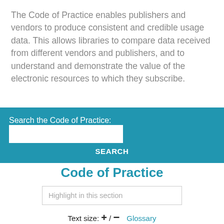The Code of Practice enables publishers and vendors to produce consistent and credible usage data. This allows libraries to compare data received from different vendors and publishers, and to understand and demonstrate the value of the electronic resources to which they subscribe.
Search the Code of Practice: [search input] SEARCH
Code of Practice
Highlight in this section
Text size: + / − Glossary